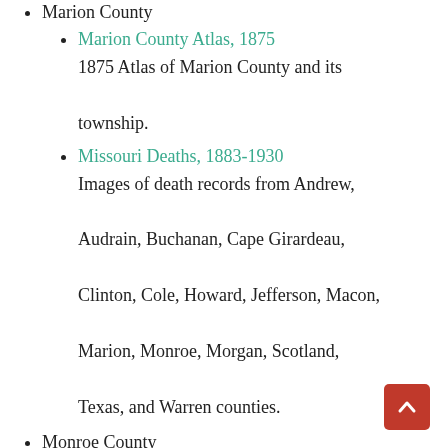Marion County
Marion County Atlas, 1875
1875 Atlas of Marion County and its township.
Missouri Deaths, 1883-1930
Images of death records from Andrew, Audrain, Buchanan, Cape Girardeau, Clinton, Cole, Howard, Jefferson, Macon, Marion, Monroe, Morgan, Scotland, Texas, and Warren counties.
Monroe County
Missouri Deaths, 1883-1930
Images of death records from Andrew, Audrain, Buchanan, Cape Girardeau,